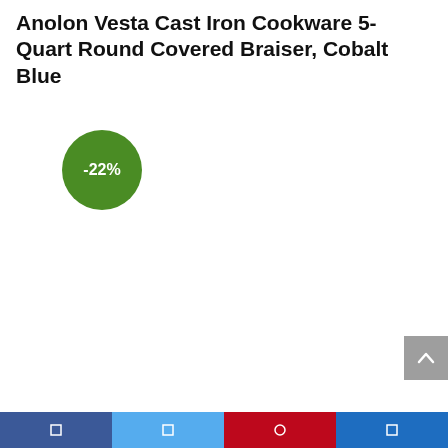Anolon Vesta Cast Iron Cookware 5-Quart Round Covered Braiser, Cobalt Blue
[Figure (infographic): Green circular discount badge showing -22%]
[Figure (infographic): Grey scroll-to-top button with upward chevron arrow]
Social share bar with Facebook, Twitter, Pinterest, and Email buttons